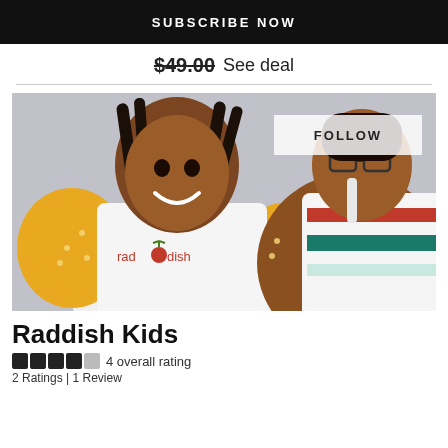SUBSCRIBE NOW
$49.00 See deal
[Figure (photo): Two children wearing white Raddish aprons in a kitchen. A smiling girl in a yellow polka-dot shirt is on the left, and a boy with glasses wearing a striped shirt is on the right. The Raddish logo is visible on the apron. A 'FOLLOW' button overlay is at the top right.]
Raddish Kids
4 overall rating
2 Ratings | 1 Review